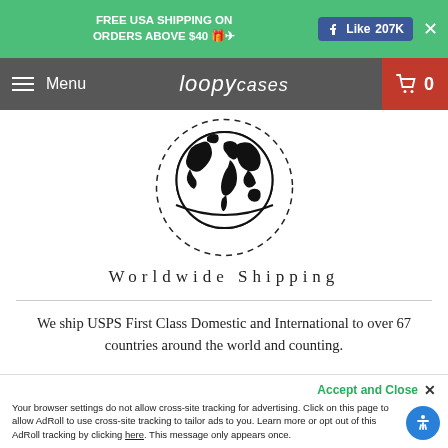FREE USA SHIPPING ON ORDERS ABOVE $40 🎁✈ | Like 207K | ✕
Menu | loopycases | 0
[Figure (illustration): Globe/world map icon inside a dashed circle, black and white illustration]
Worldwide Shipping
We ship USPS First Class Domestic and International to over 67 countries around the world and counting.
Accept and Close ✕
Your browser settings do not allow cross-site tracking for advertising. Click on this page to allow AdRoll to use cross-site tracking to tailor ads to you. Learn more or opt out of this AdRoll tracking by clicking here. This message only appears once.